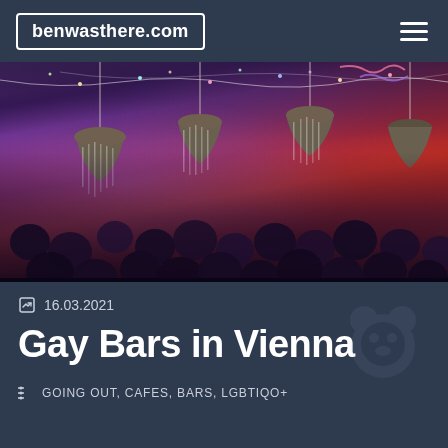benwasthere.com
[Figure (photo): Interior of a crowded gay bar in Vienna with pendant lamps, colorful string lights, people socializing, and a bar visible in the background with red lighting.]
16.03.2021
Gay Bars in Vienna
GOING OUT, CAFES, BARS, LGBTIQO+